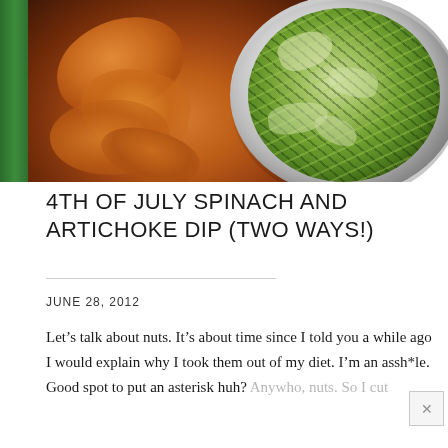[Figure (photo): Food photograph showing sweet potato chips on the left and a bowl of spinach artichoke dip on the right, on a gray plate with a green napkin and fork visible on the left edge]
4TH OF JULY SPINACH AND ARTICHOKE DIP (TWO WAYS!)
JUNE 28, 2012
Let's talk about nuts. It's about time since I told you a while ago I would explain why I took them out of my diet. I'm an assh*le. Good spot to put an asterisk huh? Anywho, nuts. So I cut